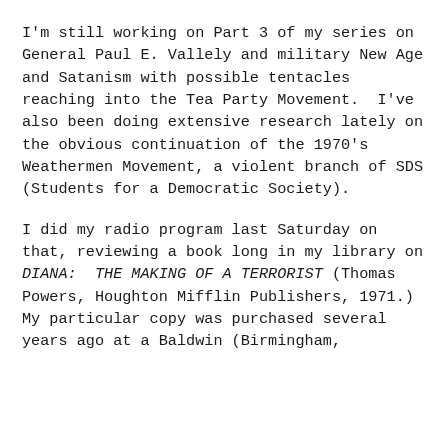I'm still working on Part 3 of my series on General Paul E. Vallely and military New Age and Satanism with possible tentacles reaching into the Tea Party Movement.  I've also been doing extensive research lately on the obvious continuation of the 1970's Weathermen Movement, a violent branch of SDS (Students for a Democratic Society).
I did my radio program last Saturday on that, reviewing a book long in my library on DIANA:  THE MAKING OF A TERRORIST (Thomas Powers, Houghton Mifflin Publishers, 1971.)  My particular copy was purchased several years ago at a Baldwin (Birmingham,